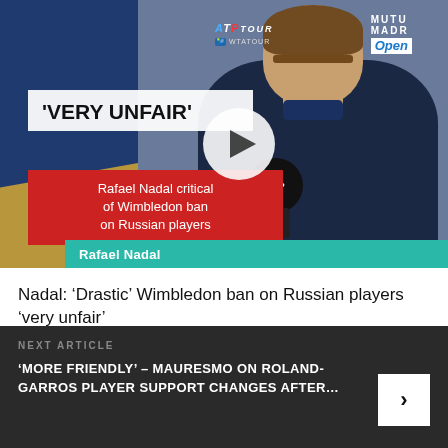[Figure (screenshot): Video thumbnail showing Rafael Nadal at a press conference with Mutua Madrid Open branding. Text overlays read 'VERY UNFAIR' and 'Rafael Nadal critical of Wimbledon ban on Russian players'. A play button is visible in the center.]
Nadal: ‘Drastic’ Wimbledon ban on Russian players ‘very unfair’
NEXT ARTICLE
‘MORE FRIENDLY’ - MAURESMO ON ROLAND-GARROS PLAYER SUPPORT CHANGES AFTER…